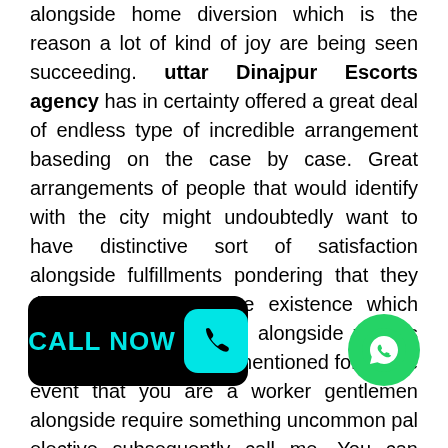alongside home diversion which is the reason a lot of kind of joy are being seen succeeding. uttar Dinajpur Escorts agency has in certainty offered a great deal of endless type of incredible arrangement baseding on the case by case. Great arrangements of people that would identify with the city might undoubtedly want to have distinctive sort of satisfaction alongside fulfillments pondering that they don't plan to have the existence which abounds with bluntness alongside various different focuses when mentioned for. In the event that you are a worker gentlemen alongside require something uncommon pal elective subsequently call me. You can educate me whatever you intend to do with me. I may achieve every one of your necessities if you pay me a phenomenal sum. You are your mate besides and we do during association moreover in the event that you like me. I am rather high
[Figure (other): Black button with cyan text 'CALL NOW' and a phone icon in a cyan rounded square]
[Figure (other): Green circular WhatsApp icon button]